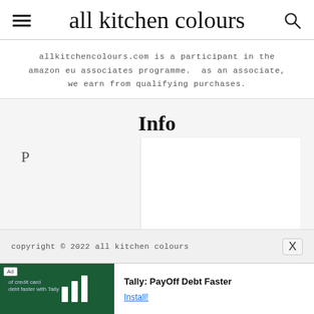all kitchen colours
allkitchencolours.com is a participant in the amazon eu associates programme.  as an associate, we earn from qualifying purchases.
Info
P
copyright © 2022 all kitchen colours
[Figure (other): Advertisement banner: Tally PayOff Debt Faster app ad with green background and bar icons]